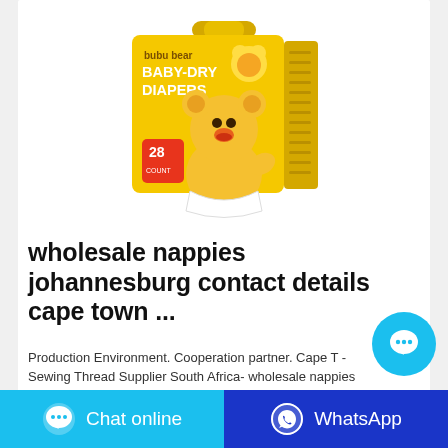[Figure (photo): Yellow package of bubu bear BABY-DRY DIAPERS with 28 count, featuring a cartoon bear character wearing a diaper on the front of the package.]
wholesale nappies johannesburg contact details cape town ...
Production Environment. Cooperation partner. Cape T - Sewing Thread Supplier South Africa- wholesale nappies johannesburg contact details cape town south africa ,ACA
[Figure (other): Blue circular chat bubble button with three dots]
Chat online   WhatsApp